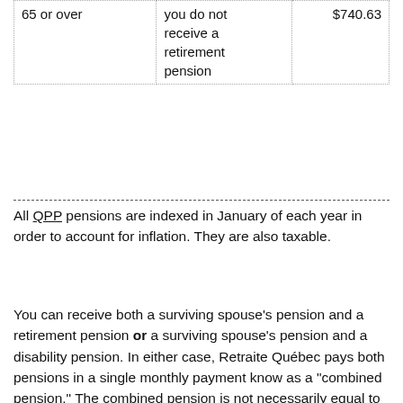| 65 or over | you do not receive a retirement pension | $740.63 |
All QPP pensions are indexed in January of each year in order to account for inflation. They are also taxable.
You can receive both a surviving spouse's pension and a retirement pension or a surviving spouse's pension and a disability pension. In either case, Retraite Québec pays both pensions in a single monthly payment know as a "combined pension." The combined pension is not necessarily equal to the sum of both pensions since it is subject to a maximum determined by law.